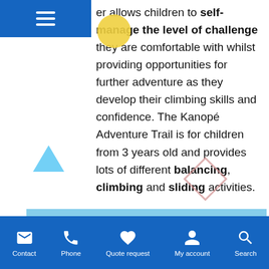…er allows children to self-manage the level of challenge they are comfortable with whilst providing opportunities for further adventure as they develop their climbing skills and confidence. The Kanopé Adventure Trail is for children from 3 years old and provides lots of different balancing, climbing and sliding activities.
[Figure (photo): Colourful children's adventure play structure with green slide tube, yellow and green elements, red spinner, metal cage frame, against a blue sky with tree foliage on the right.]
Contact | Phone | Quote request | My account | Search